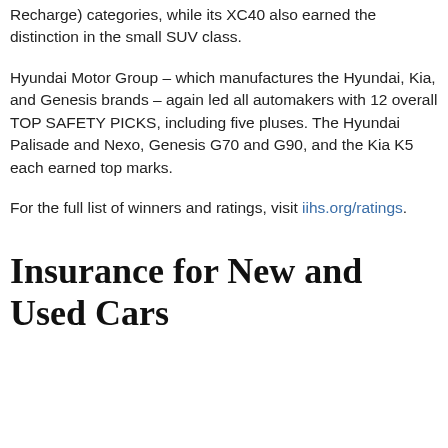Recharge) categories, while its XC40 also earned the distinction in the small SUV class.
Hyundai Motor Group – which manufactures the Hyundai, Kia, and Genesis brands – again led all automakers with 12 overall TOP SAFETY PICKS, including five pluses. The Hyundai Palisade and Nexo, Genesis G70 and G90, and the Kia K5 each earned top marks.
For the full list of winners and ratings, visit iihs.org/ratings.
Insurance for New and Used Cars